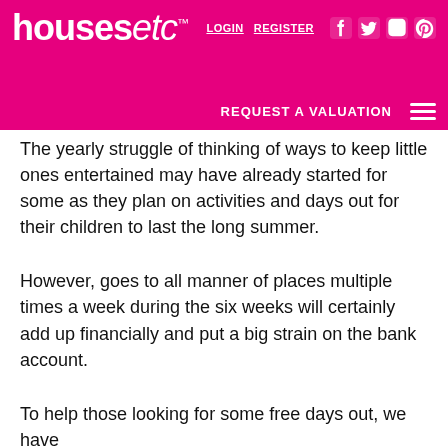housesetc | LOGIN | REGISTER | REQUEST A VALUATION
The yearly struggle of thinking of ways to keep little ones entertained may have already started for some as they plan on activities and days out for their children to last the long summer.
However, goes to all manner of places multiple times a week during the six weeks will certainly add up financially and put a big strain on the bank account.
To help those looking for some free days out, we have